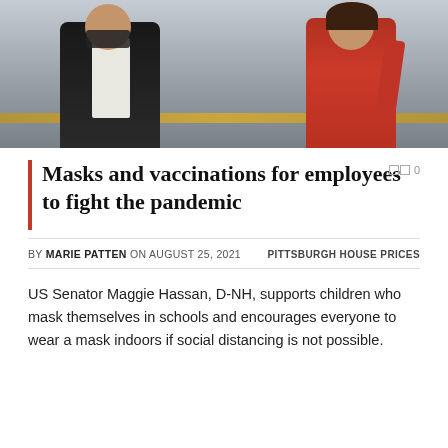[Figure (photo): Two people standing together indoors: one wearing a black suit with a mask, another wearing a red dress. Background appears to be a gray/silver wall with a gold horizontal strip.]
Masks and vaccinations for employees to fight the pandemic
BY MARIE PATTEN ON AUGUST 25, 2021    PITTSBURGH HOUSE PRICES
US Senator Maggie Hassan, D-NH, supports children who mask themselves in schools and encourages everyone to wear a mask indoors if social distancing is not possible.